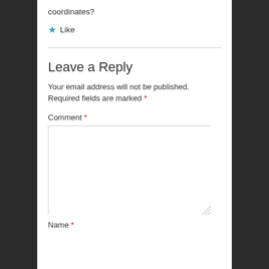coordinates?
★ Like
Leave a Reply
Your email address will not be published. Required fields are marked *
Comment *
Name *